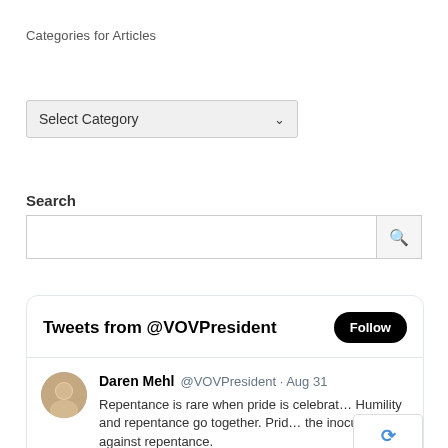Categories for Articles
Select Category
Search
[Figure (screenshot): Search input box with magnifying glass button]
[Figure (screenshot): Tweet widget showing Tweets from @VOVPresident with Follow button and a tweet by Daren Mehl @VOVPresident · Aug 31: Repentance is rare when pride is celebrated. Humility and repentance go together. Pride is the inoculation against repentance.]